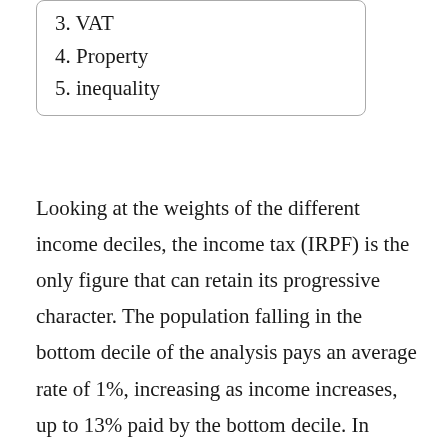3. VAT
4. Property
5. inequality
Looking at the weights of the different income deciles, the income tax (IRPF) is the only figure that can retain its progressive character. The population falling in the bottom decile of the analysis pays an average rate of 1%, increasing as income increases, up to 13% paid by the bottom decile. In contrast, the richest 0.9% are subject to a 15% tax rate, 0.09% to a 12% tax rate and 0.01% to a 9% tax rate. For all these reasons, in the general X-ray that